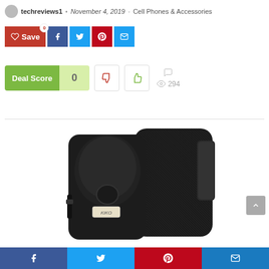techreviews1 • November 4, 2019 • Cell Phones & Accessories
[Figure (screenshot): Social share buttons: Save, Facebook, Twitter, Pinterest, Email]
[Figure (infographic): Deal Score: 0, downvote and upvote buttons, comment icon, 294 views]
[Figure (photo): KiKO brand black nylon phone holster/pouch with belt clip]
Facebook, Twitter, Pinterest, Email share icons